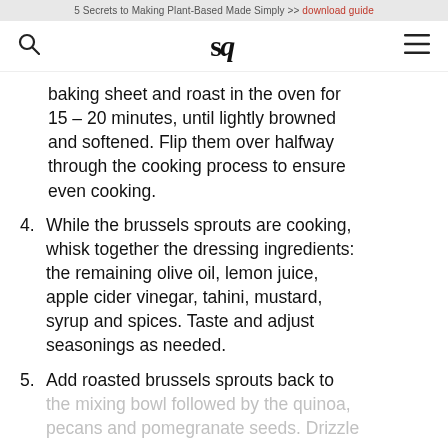5 Secrets to Making Plant-Based Made Simply >> download guide
sq (logo)
baking sheet and roast in the oven for 15 – 20 minutes, until lightly browned and softened. Flip them over halfway through the cooking process to ensure even cooking.
4. While the brussels sprouts are cooking, whisk together the dressing ingredients: the remaining olive oil, lemon juice, apple cider vinegar, tahini, mustard, syrup and spices. Taste and adjust seasonings as needed.
5. Add roasted brussels sprouts back to the mixing bowl followed by the quinoa, pecans and pomegranate seeds. Drizzle